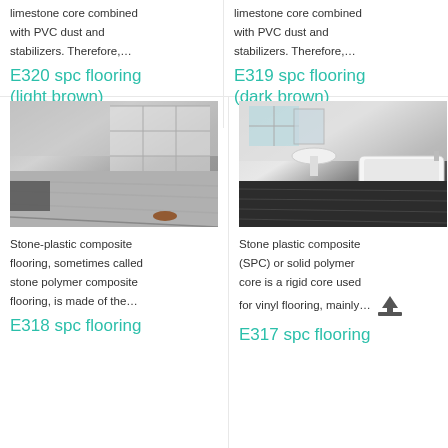limestone core combined with PVC dust and stabilizers. Therefore,…
E320 spc flooring (light brown)
limestone core combined with PVC dust and stabilizers. Therefore,…
E319 spc flooring (dark brown)
[Figure (photo): Interior room with light grey/white SPC flooring, open shelving unit in background]
Stone-plastic composite flooring, sometimes called stone polymer composite flooring, is made of the…
E318 spc flooring
[Figure (photo): Bathroom with dark/black SPC flooring, freestanding bathtub and pedestal sink]
Stone plastic composite (SPC) or solid polymer core is a rigid core used for vinyl flooring, mainly…
E317 spc flooring